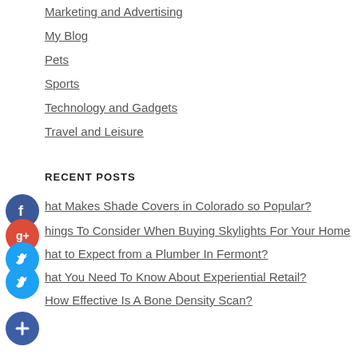Marketing and Advertising
My Blog
Pets
Sports
Technology and Gadgets
Travel and Leisure
RECENT POSTS
What Makes Shade Covers in Colorado so Popular?
Things To Consider When Buying Skylights For Your Home
What to Expect from a Plumber In Fermont?
What You Need To Know About Experiential Retail?
How Effective Is A Bone Density Scan?
TAGS